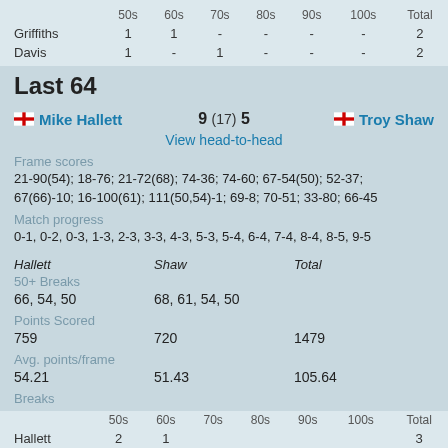|  | 50s | 60s | 70s | 80s | 90s | 100s | Total |
| --- | --- | --- | --- | --- | --- | --- | --- |
| Griffiths | 1 | 1 | - | - | - | - | 2 |
| Davis | 1 | - | 1 | - | - | - | 2 |
Last 64
Mike Hallett 9 (17) 5 Troy Shaw
View head-to-head
Frame scores
21-90(54); 18-76; 21-72(68); 74-36; 74-60; 67-54(50); 52-37; 67(66)-10; 16-100(61); 111(50,54)-1; 69-8; 70-51; 33-80; 66-45
Match progress
0-1, 0-2, 0-3, 1-3, 2-3, 3-3, 4-3, 5-3, 5-4, 6-4, 7-4, 8-4, 8-5, 9-5
| Hallett | Shaw | Total |
| --- | --- | --- |
| 50+ Breaks |  |  |
| 66, 54, 50 | 68, 61, 54, 50 |  |
| Points Scored |  |  |
| 759 | 720 | 1479 |
| Avg. points/frame |  |  |
| 54.21 | 51.43 | 105.64 |
| Breaks |  |  |
|  | 50s | 60s | 70s | 80s | 90s | 100s | Total |
| --- | --- | --- | --- | --- | --- | --- | --- |
| Hallett | 2 | 1 |  |  |  |  | 3 |